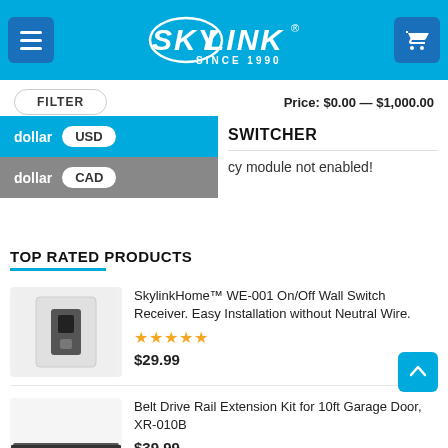[Figure (screenshot): SkyLink website header with logo, menu button, and cart button on blue background]
FILTER
Price: $0.00 — $1,000.00
dollar USD
dollar CAD
CURRENCY SWITCHER
cy module not enabled!
TOP RATED PRODUCTS
SkylinkHome™ WE-001 On/Off Wall Switch Receiver. Easy Installation without Neutral Wire.
★★★★★
$29.99
Belt Drive Rail Extension Kit for 10ft Garage Door, XR-010B
$39.99